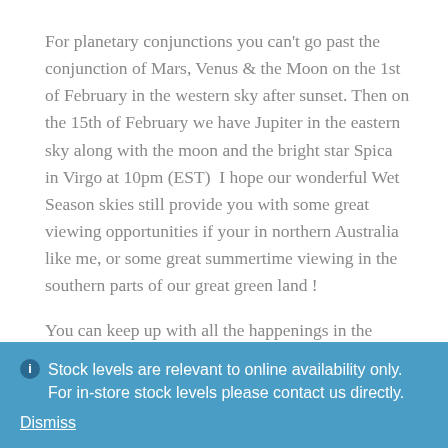For planetary conjunctions you can't go past the conjunction of Mars, Venus & the Moon on the 1st of February in the western sky after sunset. Then on the 15th of February we have Jupiter in the eastern sky along with the moon and the bright star Spica in Virgo at 10pm (EST)  I hope our wonderful Wet Season skies still provide you with some great viewing opportunities if your in northern Australia like me, or some great summertime viewing in the southern parts of our great green land !
You can keep up with all the happenings in the Night Sky with an Astronomy Calendar, or Astronomy 2017 yearbook & I have just a few of each left !
ℹ Stock levels are relevant to online availability only. For in-store stock levels please contact us directly.
Dismiss